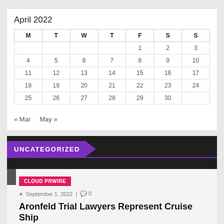April 2022
| M | T | W | T | F | S | S |
| --- | --- | --- | --- | --- | --- | --- |
|  |  |  |  | 1 | 2 | 3 |
| 4 | 5 | 6 | 7 | 8 | 9 | 10 |
| 11 | 12 | 13 | 14 | 15 | 16 | 17 |
| 18 | 19 | 20 | 21 | 22 | 23 | 24 |
| 25 | 26 | 27 | 28 | 29 | 30 |  |
« Mar   May »
UNCATEGORIZED
CLOUD PRWIRE
September 1, 2022 | 0
Aronfeld Trial Lawyers Represent Cruise Ship